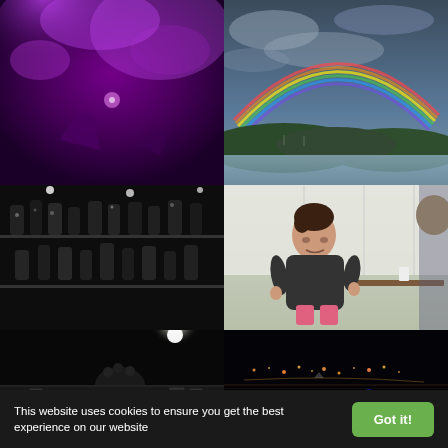[Figure (photo): Purple-lit concert scene with smoke and performer hands visible from below]
[Figure (photo): Rainbow arching over a lake and hills under dramatic cloudy sky]
[Figure (photo): Black and white photo of bottles on shelves in low light]
[Figure (photo): Young child sitting at an outdoor picnic table, looking to the side]
[Figure (photo): Black and white spotlight on a performer with curly hair on stage]
[Figure (photo): Night cityscape with lights reflected on water and blue glowing elements in foreground]
[Figure (photo): Black and white photo of a fence/wall with 'hello' written in white script]
This website uses cookies to ensure you get the best experience on our website
Got it!